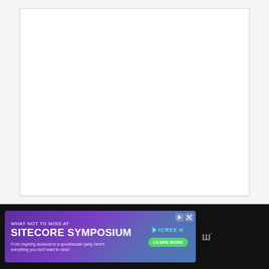[Figure (other): White rectangular card on light gray background, representing a blank document or content area]
[Figure (other): Advertisement banner for Sitecore Symposium with purple gradient background, text reading 'WHAT NOT TO MISS AT SITECORE SYMPOSIUM - From inspiring sessions to a spooktacular party, here's everything you don't want to miss!' with iCREEN logo and Learn More button]
W°